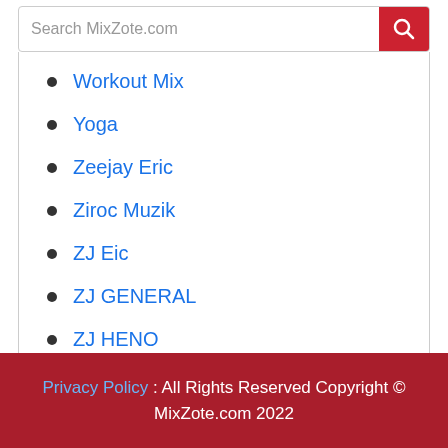Workout Mix
Yoga
Zeejay Eric
Ziroc Muzik
ZJ Eic
ZJ GENERAL
ZJ HENO
ZJ Keyzzah
Privacy Policy : All Rights Reserved Copyright © MixZote.com 2022